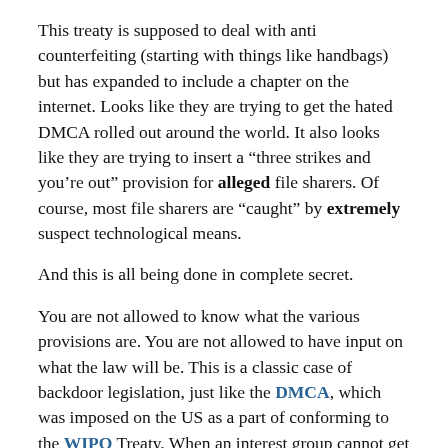This treaty is supposed to deal with anti counterfeiting (starting with things like handbags) but has expanded to include a chapter on the internet. Looks like they are trying to get the hated DMCA rolled out around the world. It also looks like they are trying to insert a “three strikes and you’re out” provision for alleged file sharers. Of course, most file sharers are “caught” by extremely suspect technological means.
And this is all being done in complete secret.
You are not allowed to know what the various provisions are. You are not allowed to have input on what the law will be. This is a classic case of backdoor legislation, just like the DMCA, which was imposed on the US as a part of conforming to the WIPO Treaty. When an interest group cannot get laws passed in their own country, they get it into an international treaty and then turn around and say “Sorry, duly elected